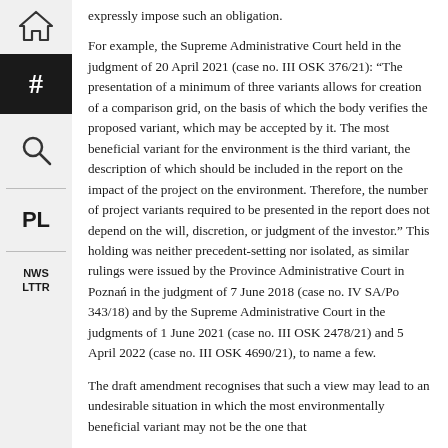expressly impose such an obligation.
For example, the Supreme Administrative Court held in the judgment of 20 April 2021 (case no. III OSK 376/21): “The presentation of a minimum of three variants allows for creation of a comparison grid, on the basis of which the body verifies the proposed variant, which may be accepted by it. The most beneficial variant for the environment is the third variant, the description of which should be included in the report on the impact of the project on the environment. Therefore, the number of project variants required to be presented in the report does not depend on the will, discretion, or judgment of the investor.” This holding was neither precedent-setting nor isolated, as similar rulings were issued by the Province Administrative Court in Poznań in the judgment of 7 June 2018 (case no. IV SA/Po 343/18) and by the Supreme Administrative Court in the judgments of 1 June 2021 (case no. III OSK 2478/21) and 5 April 2022 (case no. III OSK 4690/21), to name a few.
The draft amendment recognises that such a view may lead to an undesirable situation in which the most environmentally beneficial variant may not be the one that